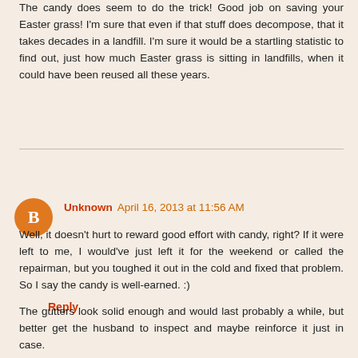The candy does seem to do the trick! Good job on saving your Easter grass! I'm sure that even if that stuff does decompose, that it takes decades in a landfill. I'm sure it would be a startling statistic to find out, just how much Easter grass is sitting in landfills, when it could have been reused all these years.
Reply
Unknown April 16, 2013 at 11:56 AM
Well, it doesn't hurt to reward good effort with candy, right? If it were left to me, I would've just left it for the weekend or called the repairman, but you toughed it out in the cold and fixed that problem. So I say the candy is well-earned. :)
The gutters look solid enough and would last probably a while, but better get the husband to inspect and maybe reinforce it just in case.